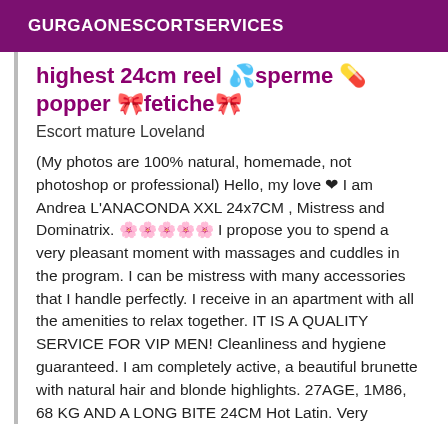GURGAONESCORTSERVICES
highest 24cm reel 💦sperme 💊popper 🎀fetiche🎀
Escort mature Loveland
(My photos are 100% natural, homemade, not photoshop or professional) Hello, my love ❤ I am Andrea L'ANACONDA XXL 24x7CM , Mistress and Dominatrix. 🌸🌸🌸🌸🌸 I propose you to spend a very pleasant moment with massages and cuddles in the program. I can be mistress with many accessories that I handle perfectly. I receive in an apartment with all the amenities to relax together. IT IS A QUALITY SERVICE FOR VIP MEN! Cleanliness and hygiene guaranteed. I am completely active, a beautiful brunette with natural hair and blonde highlights. 27AGE, 1M86, 68 KG AND A LONG BITE 24CM Hot Latin. Very naughty. Playful, cuddly, submissive and dominatrix at will, expert and trained in body massages. Open and sympathetic, with